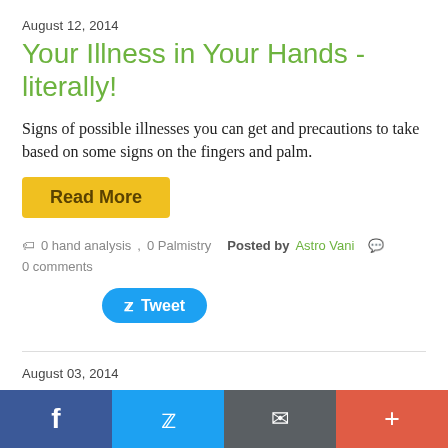August 12, 2014
Your Illness in Your Hands - literally!
Signs of possible illnesses you can get and precautions to take based on some signs on the fingers and palm.
Read More
0 hand analysis , 0 Palmistry   Posted by Astro Vani   0 comments
Tweet
August 03, 2014
Birthmarks
Some signs on the body and what they mean.
Read More